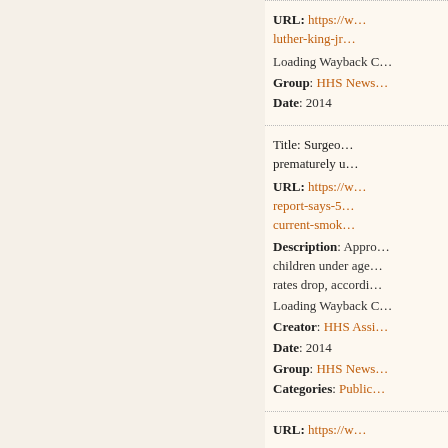URL: https://w...luther-king-jr... Loading Wayback C... Group: HHS News... Date: 2014
Title: Surgeon...prematurely u... URL: https://w...report-says-5...current-smok... Description: Appro...children under age...rates drop, accordi... Loading Wayback C... Creator: HHS Assi... Date: 2014 Group: HHS News... Categories: Public...
URL: https://w...